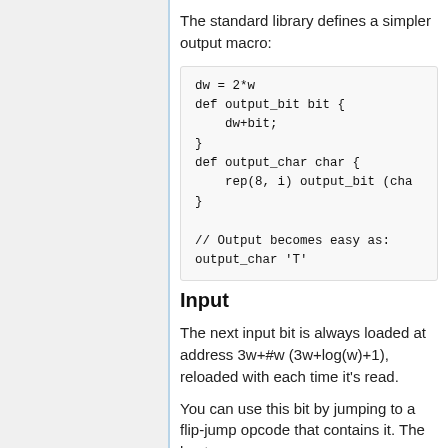The standard library defines a simpler output macro:
dw = 2*w
def output_bit bit {
    dw+bit;
}
def output_char char {
    rep(8, i) output_bit (cha
}

// Output becomes easy as:
output_char 'T'
Input
The next input bit is always loaded at address 3w+#w (3w+log(w)+1), reloaded with each time it's read.
You can use this bit by jumping to a flip-jump opcode that contains it. The best